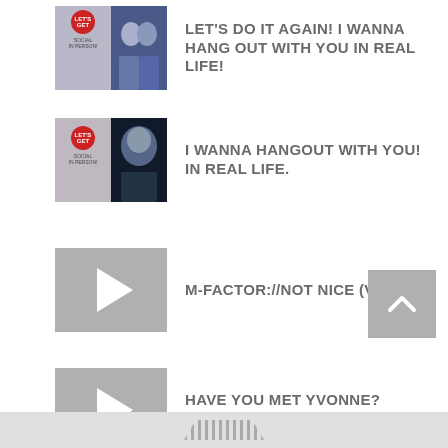[Figure (other): Thumbnail image composite with two panels; left panel has a red circular badge and text, right panel shows a group of people]
LET'S DO IT AGAIN! I WANNA HANG OUT WITH YOU IN REAL LIFE!
[Figure (other): Thumbnail image composite with two panels; left panel has a red circular badge and text, right panel shows a close-up portrait of a person]
I WANNA HANGOUT WITH YOU! IN REAL LIFE.
[Figure (other): Gray video play button thumbnail]
M-FACTOR://NOT NICE (VIDEO)
[Figure (other): Gray video play button thumbnail]
HAVE YOU MET YVONNE? (VIDEO)
[Figure (other): Gray scroll-to-top button with upward chevron arrow]